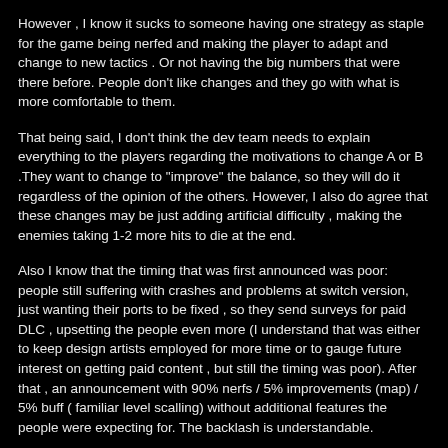However , I know it sucks to someone having one strategy as staple for the game being nerfed and making the player to adapt and change to new tactics . Or not having the big numbers that were there before. People don't like changes and they go with what is more comfortable to them.
That being said, I don't think the dev team needs to explain everything to the players regarding the motivations to change A or B .They want to change to "improve" the balance, so they will do it regardless of the opinion of the others. However, I also do agree that these changes may be just adding artificial difficulty , making the enemies taking 1-2 more hits to die at the end.
Also I know that the timing that was first announced was poor: people still suffering with crashes and problems at switch version, just wanting their ports to be fixed , so they send surveys for paid DLC , upsetting the people even more (I understand that was either to keep design artists employed for more time or to gauge future interest on getting paid content , but still the timing was poor). After that , an announcement with 90% nerfs / 5% improvements (map) / 5% buff ( familiar level scalling) without additional features the people were expecting for. The backlash is understandable.
At least in this latest update they improved a bit : they gave us numbers of nerf values, list of bugfixes (very welcome changes) , technique buffs ( to compensate shards nerfs). This is already something, but I suggest in the future giving more information regarding number and statistics. Also it would be nice surprise us, players with new things that were not there before ( such adding elements icons to shards , so we can know what is the shard damage type instead of trying it and sorting /filtering by these